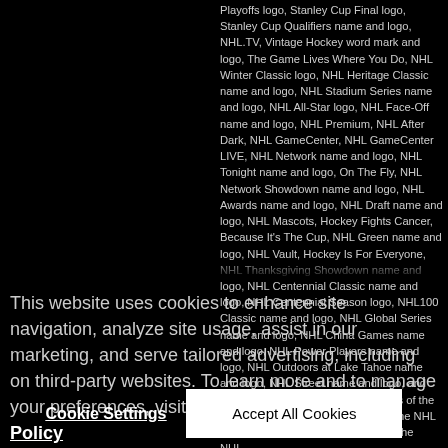Playoffs logo, Stanley Cup Final logo, Stanley Cup Qualifiers name and logo, NHL.TV, Vintage Hockey word mark and logo, The Game Lives Where You Do, NHL Winter Classic logo, NHL Heritage Classic name and logo, NHL Stadium Series name and logo, NHL All-Star logo, NHL Face-Off name and logo, NHL Premium, NHL After Dark, NHL GameCenter, NHL GameCenter LIVE, NHL Network name and logo, NHL Tonight name and logo, On The Fly, NHL Network Showdown name and logo, NHL Awards name and logo, NHL Draft name and logo, NHL Mascots, Hockey Fights Cancer, Because It's The Cup, NHL Green name and logo, NHL Vault, Hockey Is For Everyone, NHL Thanksgiving Showdown name and logo, NHL Centennial Classic name and logo, NHL Centennial Season logo, NHL100 Classic name and logo, NHL Global Series name and logo, NHL China Games name and logo, NHL Power Players name and logo, NHL Outdoors at Lake Tahoe name and logo, NHL Street name and logo, and Don't Miss A Moment are trademarks of the National Hockey League. NHL and the NHL Shield are registered trademarks of the NHL...
This website uses cookies to enhance site navigation, analyze site usage, assist in our marketing, and serve tailored advertising, including on third-party websites. To learn more and to manage your preferences, visit Cookie Settings. Privacy Policy
Cookie Settings
Accept All Cookies